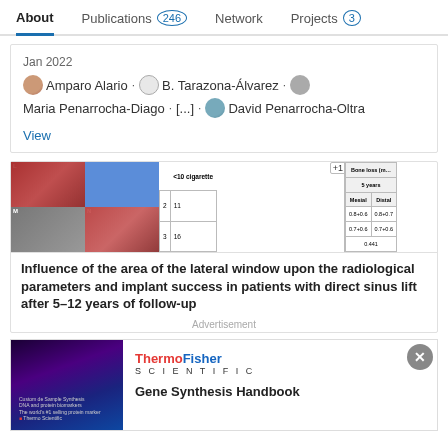About  Publications 246  Network  Projects 3
Jan 2022
Amparo Alario · B. Tarazona-Álvarez · Maria Penarrocha-Diago · [...] · David Penarrocha-Oltra
View
[Figure (screenshot): Preview thumbnail showing dental surgery images and partial data tables with bone gain and bone loss columns]
Influence of the area of the lateral window upon the radiological parameters and implant success in patients with direct sinus lift after 5–12 years of follow-up
Advertisement
[Figure (photo): ThermoFisher Scientific advertisement showing Gene Synthesis Handbook with a scientist image on dark background]